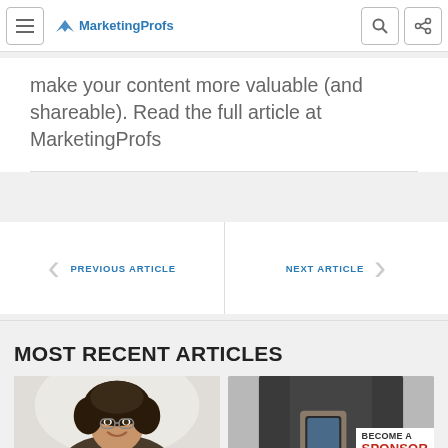MarketingProfs
make your content more valuable (and shareable). Read the full article at MarketingProfs
PREVIOUS ARTICLE
NEXT ARTICLE
MOST RECENT ARTICLES
[Figure (photo): Smiling woman with curly hair, light background]
[Figure (photo): Person in dark suit holding phone, with BECOME A SPONSOR overlay]